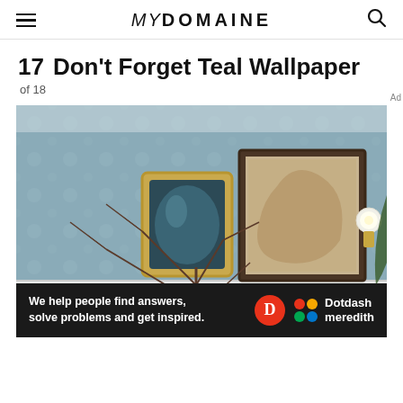MYDOMAINE
17  Don't Forget Teal Wallpaper
of 18
[Figure (photo): Interior room photo showing a teal/blue floral wallpaper on a wall with two framed artworks hung — a smaller gold-framed convex mirror on the left and a larger dark-framed beige artwork on the right. A wall sconce with a round globe bulb is visible on the right side. In the foreground are bare branching twigs/branches. White beadboard wainscoting is visible at the bottom. A green plant leaf is partially visible at the far right edge.]
Ad
We help people find answers, solve problems and get inspired.
Dotdash meredith